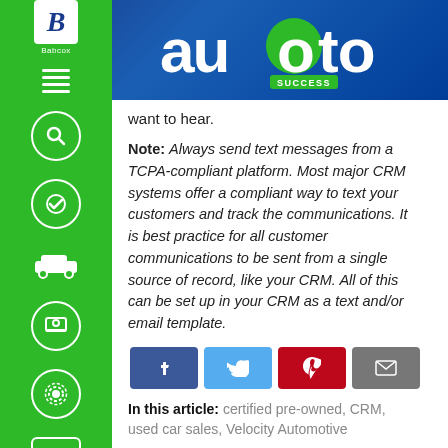auto SUCCESS
want to hear.
Note: Always send text messages from a TCPA-compliant platform. Most major CRM systems offer a compliant way to text your customers and track the communications. It is best practice for all customer communications to be sent from a single source of record, like your CRM. All of this can be set up in your CRM as a text and/or email template.
[Figure (infographic): Social share buttons: Facebook (blue), Twitter (light blue), Pinterest (red), Email (gray)]
In this article: certified pre-owned, CRM, used car sales, Velocity Automotive